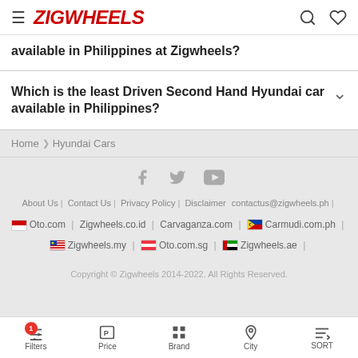ZIGWHEELS
available in Philippines at Zigwheels?
Which is the least Driven Second Hand Hyundai car available in Philippines?
Home > Hyundai Cars
[Figure (other): Social media icons: Facebook, Twitter, YouTube]
About Us | Contact Us | Privacy Policy | Disclaimer contactus@zigwheels.ph | Oto.com | Zigwheels.co.id | Carvaganza.com | Carmudi.com.ph | Zigwheels.my | Oto.com.sg | Zigwheels.ae
Copyright © Zigwheels 2014-2022. All Rights Reserved.
Filters | Price | Brand | City | SORT